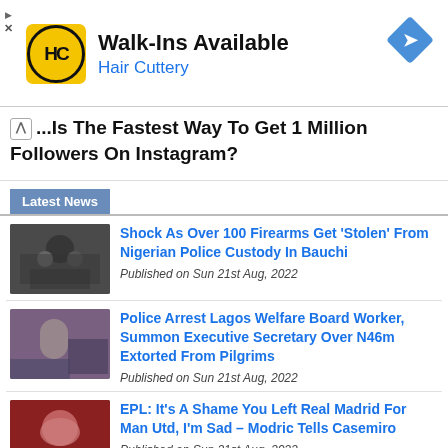[Figure (advertisement): Hair Cuttery ad banner with yellow HC logo, 'Walk-Ins Available' headline, and blue navigation arrow icon]
What Is The Fastest Way To Get 1 Million Followers On Instagram?
Latest News
[Figure (photo): Nigerian police officers in tactical gear]
Shock As Over 100 Firearms Get 'Stolen' From Nigerian Police Custody In Bauchi
Published on Sun 21st Aug, 2022
[Figure (photo): Person being arrested, hands behind back]
Police Arrest Lagos Welfare Board Worker, Summon Executive Secretary Over N46m Extorted From Pilgrims
Published on Sun 21st Aug, 2022
[Figure (photo): Football player Casemiro headshot]
EPL: It's A Shame You Left Real Madrid For Man Utd, I'm Sad – Modric Tells Casemiro
Published on Sun 21st Aug, 2022